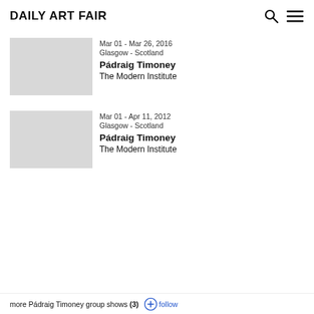Daily Art Fair
Mar 01 - Mar 26, 2016
Glasgow - Scotland
Pádraig Timoney
The Modern Institute
Mar 01 - Apr 11, 2012
Glasgow - Scotland
Pádraig Timoney
The Modern Institute
more Pádraig Timoney group shows (3)  follow